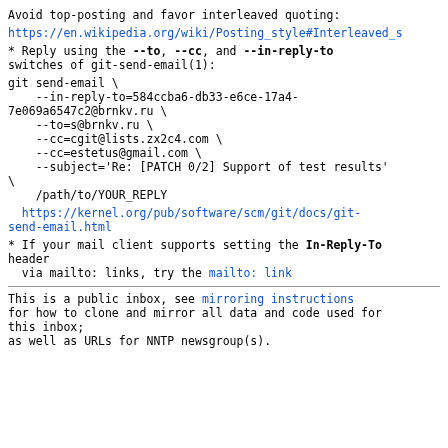Avoid top-posting and favor interleaved quoting:
https://en.wikipedia.org/wiki/Posting_style#Interleaved_s
* Reply using the --to, --cc, and --in-reply-to switches of git-send-email(1):
git send-email \
    --in-reply-to=584ccba6-db33-e6ce-17a4-
7e069a6547c2@brnkv.ru \
    --to=s@brnkv.ru \
    --cc=cgit@lists.zx2c4.com \
    --cc=estetus@gmail.com \
    --subject='Re: [PATCH 0/2] Support of test results' \
    /path/to/YOUR_REPLY
https://kernel.org/pub/software/scm/git/docs/git-send-email.html
* If your mail client supports setting the In-Reply-To header
  via mailto: links, try the mailto: link
This is a public inbox, see mirroring instructions
for how to clone and mirror all data and code used for
this inbox;
as well as URLs for NNTP newsgroup(s).